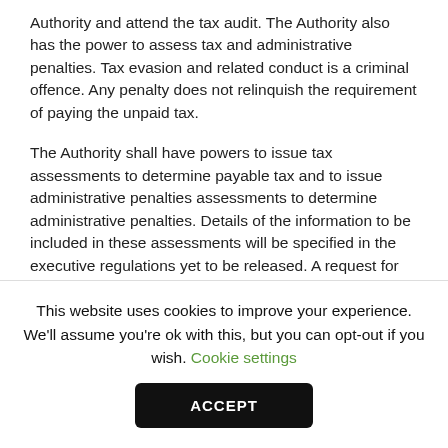Authority and attend the tax audit. The Authority also has the power to assess tax and administrative penalties. Tax evasion and related conduct is a criminal offence. Any penalty does not relinquish the requirement of paying the unpaid tax.
The Authority shall have powers to issue tax assessments to determine payable tax and to issue administrative penalties assessments to determine administrative penalties. Details of the information to be included in these assessments will be specified in the executive regulations yet to be released. A request for reconsideration may be made to the Authority within 20 business days of being notified of the Authority's decision
This website uses cookies to improve your experience. We'll assume you're ok with this, but you can opt-out if you wish. Cookie settings
ACCEPT